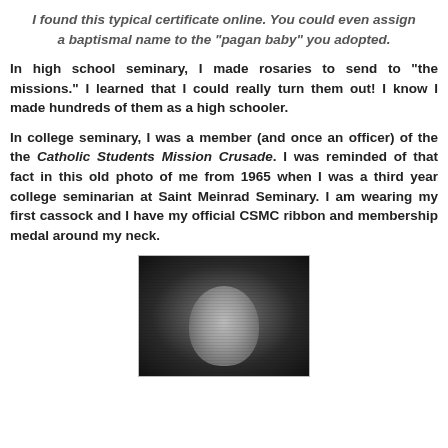I found this typical certificate online. You could even assign a baptismal name to the "pagan baby" you adopted.
In high school seminary, I made rosaries to send to "the missions." I learned that I could really turn them out! I know I made hundreds of them as a high schooler.
In college seminary, I was a member (and once an officer) of the the Catholic Students Mission Crusade. I was reminded of that fact in this old photo of me from 1965 when I was a third year college seminarian at Saint Meinrad Seminary. I am wearing my first cassock and I have my official CSMC ribbon and membership medal around my neck.
[Figure (photo): Black and white photo of the author from 1965 wearing a cassock with CSMC ribbon and membership medal at Saint Meinrad Seminary]